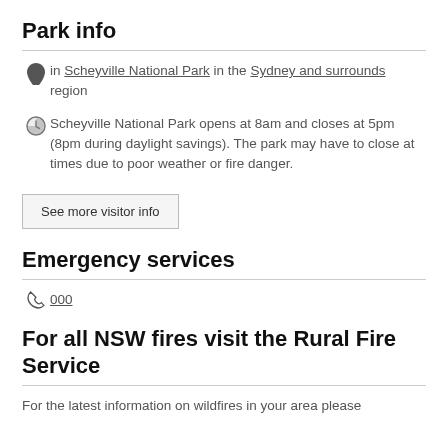Park info
in Scheyville National Park in the Sydney and surrounds region
Scheyville National Park opens at 8am and closes at 5pm (8pm during daylight savings). The park may have to close at times due to poor weather or fire danger.
See more visitor info
Emergency services
000
For all NSW fires visit the Rural Fire Service
For the latest information on wildfires in your area please